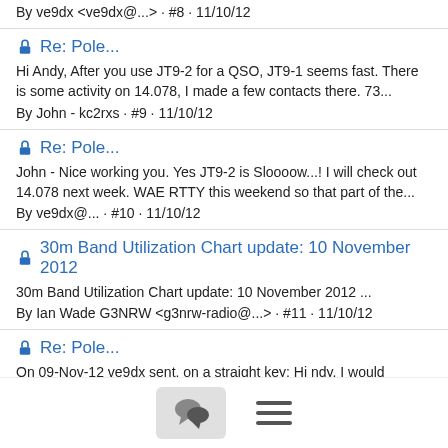By ve9dx <ve9dx@...> · #8 · 11/10/12
Re: Pole...
Hi Andy, After you use JT9-2 for a QSO, JT9-1 seems fast. There is some activity on 14.078, I made a few contacts there. 73...
By John - kc2rxs · #9 · 11/10/12
Re: Pole...
John - Nice working you. Yes JT9-2 is Sloooow...! I will check out 14.078 next week. WAE RTTY this weekend so that part of the...
By ve9dx@... · #10 · 11/10/12
30m Band Utilization Chart update: 10 November 2012
30m Band Utilization Chart update: 10 November 2012 ...
By Ian Wade G3NRW <g3nrw-radio@...> · #11 · 11/10/12
Re: Pole...
On 09-Nov-12 ve9dx sent, on a straight key: Hi ndy. I would